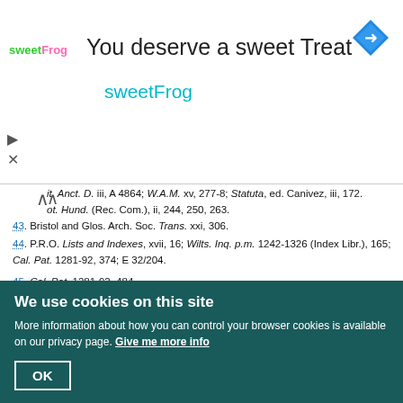[Figure (screenshot): sweetFrog advertisement banner: logo on left, 'You deserve a sweet Treat' heading, 'sweetFrog' subtitle in teal, navigation diamond icon top right, media controls left side]
it. Anct. D. iii, A 4864; W.A.M. xv, 277-8; Statuta, ed. Canivez, iii, 172.
ot. Hund. (Rec. Com.), ii, 244, 250, 263.
43. Bristol and Glos. Arch. Soc. Trans. xxi, 306.
44. P.R.O. Lists and Indexes, xvii, 16; Wilts. Inq. p.m. 1242-1326 (Index Libr.), 165; Cal. Pat. 1281-92, 374; E 32/204.
45. Cal. Pat. 1281-92, 484.
46. Ibid. 1292-1301, 101.
47. Ibid. 1301-7, 205.
48. Tax. Eccl. (Rec. Com.), 13, 185b-6b, 192b-3b, 203b, 236b.
49. Cal. Pat. 1307-13, 285.
50. Lacock Abbey MS. 57.
51. Cal. Pat. 1232-47, 330, 336; Close R. 1242-7, 69.
52. Cal. Pap. Lett. i, 194, 205-6; Statuta, ed. Canivez, ii, 243, 264, 295.
53. B.M., Harl. MS. 6603, ff. 192v-3v.
54. Close R. 1251-3, 331; 1264-8, 84.
We use cookies on this site
More information about how you can control your browser cookies is available on our privacy page. Give me more info